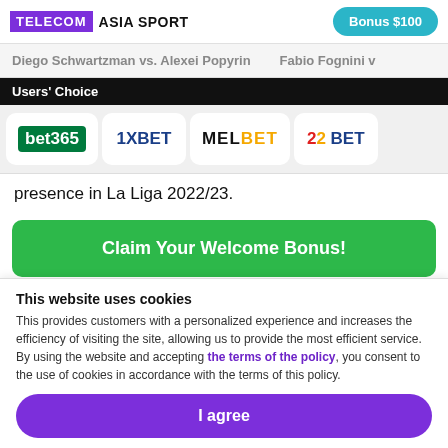TELECOM ASIA SPORT | Bonus $100
Diego Schwartzman vs. Alexei Popyrin    Fabio Fognini v
Users' Choice
[Figure (logo): Betting brand logos: bet365, 1XBET, MELBET, 22BET]
presence in La Liga 2022/23.
Claim Your Welcome Bonus!
This website uses cookies
This provides customers with a personalized experience and increases the efficiency of visiting the site, allowing us to provide the most efficient service. By using the website and accepting the terms of the policy, you consent to the use of cookies in accordance with the terms of this policy.
I agree